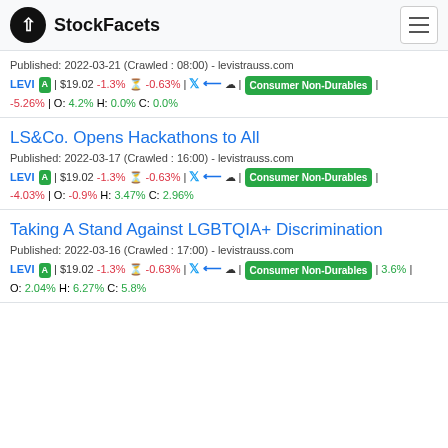StockFacets
Published: 2022-03-21 (Crawled : 08:00) - levistrauss.com
LEVI A | $19.02 -1.3% -0.63% | Consumer Non-Durables | -5.26% | O: 4.2% H: 0.0% C: 0.0%
LS&Co. Opens Hackathons to All
Published: 2022-03-17 (Crawled : 16:00) - levistrauss.com
LEVI A | $19.02 -1.3% -0.63% | Consumer Non-Durables | -4.03% | O: -0.9% H: 3.47% C: 2.96%
Taking A Stand Against LGBTQIA+ Discrimination
Published: 2022-03-16 (Crawled : 17:00) - levistrauss.com
LEVI A | $19.02 -1.3% -0.63% | Consumer Non-Durables | 3.6% | O: 2.04% H: 6.27% C: 5.8%